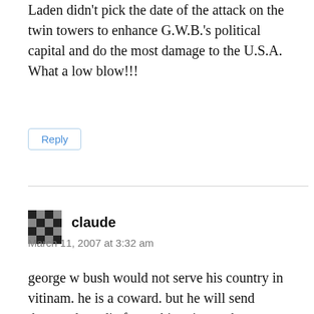Laden didn't pick the date of the attack on the twin towers to enhance G.W.B.'s political capital and do the most damage to the U.S.A. What a low blow!!!
Reply
claude
March 11, 2007 at 3:32 am
george w bush would not serve his country in vitinam. he is a coward. but he will send thousands to die for nothing .in another country.when you give a coward power he becomes brave. if he dont have to serve. the